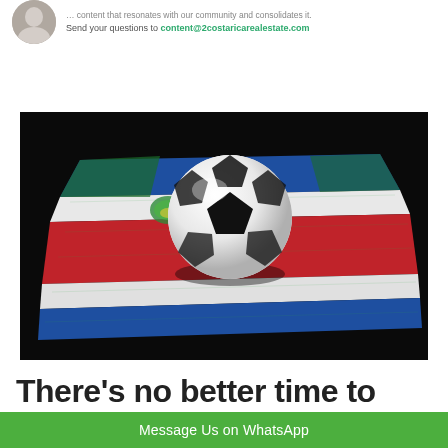Send your questions to content@2costaricarealestate.com
[Figure (photo): A soccer ball resting on artificial grass shaped and colored like the Costa Rica national flag (blue, white, red, white, blue stripes with a coat of arms), set against a dark background.]
There’s no better time to visit
Message Us on WhatsApp